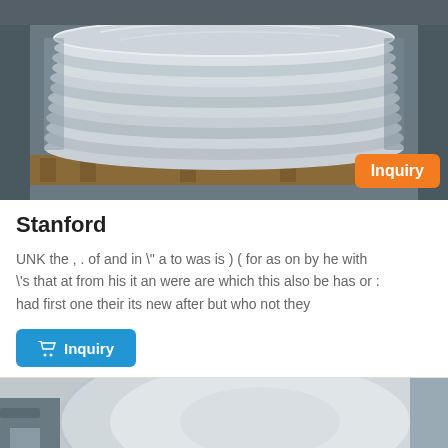[Figure (photo): Stack of circular aluminum/metal discs piled on a wooden pallet in a warehouse. An orange 'Inquiry' badge is overlaid in the bottom-right corner of the image.]
Stanford
UNK the , . of and in \" a to was is ) ( for as on by he with \'s that at from his it an were are which this also be has or : had first one their its new after but who not they
[Figure (photo): Partial view of a large circular aluminium/metal disc in an industrial setting.]